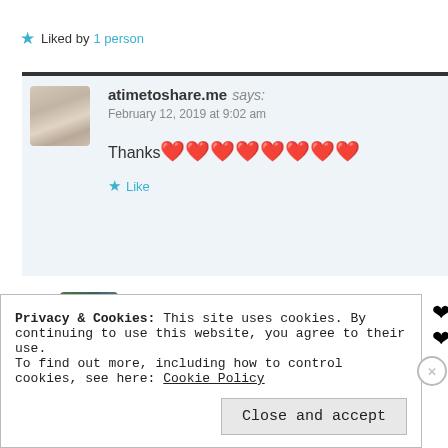★ Liked by 1 person
atimetoshare.me says:
February 12, 2019 at 9:02 am

Thanks❤❤❤❤❤❤❤❤

★ Like
Vincent S Artale Jr says:
February 12, 2019 at 9:36 pm
Privacy & Cookies: This site uses cookies. By continuing to use this website, you agree to their use.
To find out more, including how to control cookies, see here: Cookie Policy
[Close and accept]